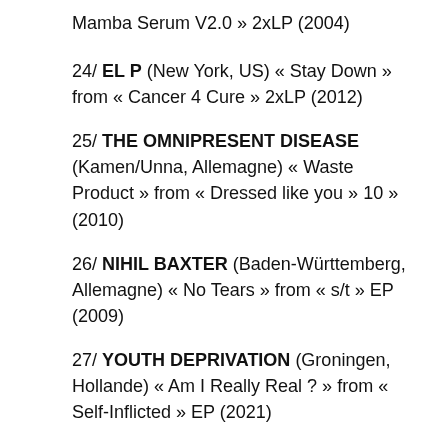Mamba Serum V2.0 » 2xLP (2004)
24/ EL P (New York, US) « Stay Down » from « Cancer 4 Cure » 2xLP (2012)
25/ THE OMNIPRESENT DISEASE (Kamen/Unna, Allemagne) « Waste Product » from « Dressed like you » 10 » (2010)
26/ NIHIL BAXTER (Baden-Württemberg, Allemagne) « No Tears » from « s/t » EP (2009)
27/ YOUTH DEPRIVATION (Groningen, Hollande) « Am I Really Real ? » from « Self-Inflicted » EP (2021)